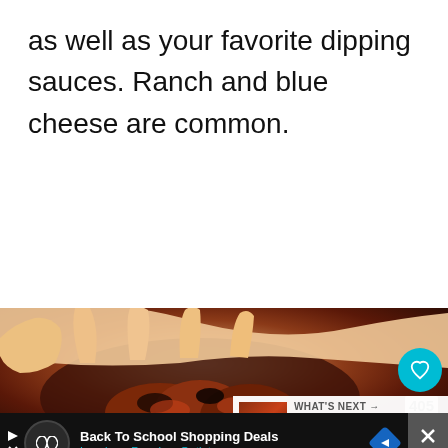as well as your favorite dipping sauces. Ranch and blue cheese are common.
[Figure (photo): A hand holding charred/sauced chicken wings coated in red-orange buffalo sauce with visible char marks. Social media interface overlays visible including a teal heart button, 405 count, share button, and a 'What's Next - 25 Best Chicken Win...' preview panel.]
WHAT'S NEXT → 25 Best Chicken Win...
[Figure (other): Advertisement banner: Back To School Shopping Deals - Leesburg Premium Outlets, with play button, infinity logo icon, blue diamond navigation icon, and X close button]